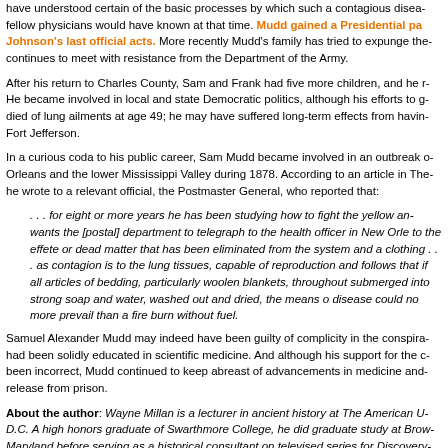have understood certain of the basic processes by which such a contagious disease... fellow physicians would have known at that time. Mudd gained a Presidential pardon as one of Johnson's last official acts. More recently Mudd's family has tried to expunge the... continues to meet with resistance from the Department of the Army.
After his return to Charles County, Sam and Frank had five more children, and he r... He became involved in local and state Democratic politics, although his efforts to g... died of lung ailments at age 49; he may have suffered long-term effects from havin... Fort Jefferson.
In a curious coda to his public career, Sam Mudd became involved in an outbreak o... Orleans and the lower Mississippi Valley during 1878. According to an article in The... he wrote to a relevant official, the Postmaster General, who reported that:
. . . for eight or more years he has been studying how to fight the yellow an... wants the [postal] department to telegraph to the health officer in New Orle... to the effete or dead matter that has been eliminated from the system and a... clothing . . . as contagion is to the lung tissues, capable of reproduction and... follows that if all articles of bedding, particularly woolen blankets, throughout... submerged into strong soap and water, washed out and dried, the means o... disease could no more prevail than a fire burn without fuel.
Samuel Alexander Mudd may indeed have been guilty of complicity in the conspira... had been solidly educated in scientific medicine. And although his support for the c... been incorrect, Mudd continued to keep abreast of advancements in medicine and... release from prison.
About the author: Wayne Millan is a lecturer in ancient history at The American U... D.C. A high honors graduate of Swarthmore College, he did graduate study at Brow... Maryland before serving as a historical consultant on televised series for Discovery... and National Geographic Channels. Since 2001, Millan has also been primary cons... school's Historical Clinicopathological Conference. He is currently at work on a bio... Reid, a native of Baltimore, long-time Johns Hopkins scientist and the father of mo... Reid's son Francis was a 1929 graduate of our medical school.